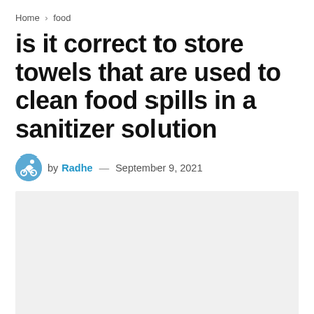Home > food
is it correct to store towels that are used to clean food spills in a sanitizer solution
by Radhe — September 9, 2021
[Figure (photo): Gray placeholder image area below the article byline]